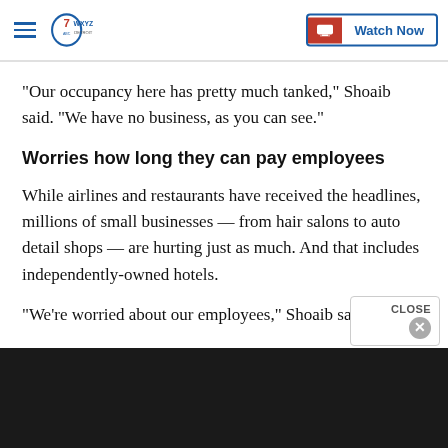WXYZ Detroit — Watch Now
"Our occupancy here has pretty much tanked," Shoaib said. "We have no business, as you can see."
Worries how long they can pay employees
While airlines and restaurants have received the headlines, millions of small businesses — from hair salons to auto detail shops — are hurting just as much. And that includes independently-owned hotels.
"We're worried about our employees," Shoaib said